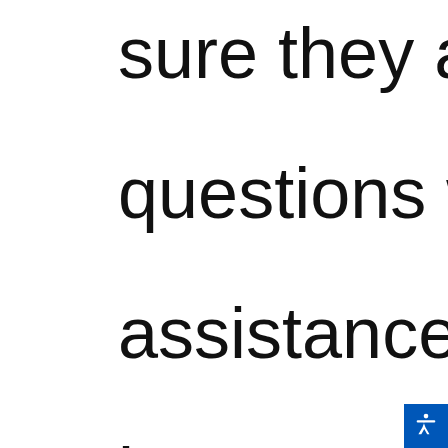sure they are as questions when assistance. This last year's prese Insurance Jeopa assisting those